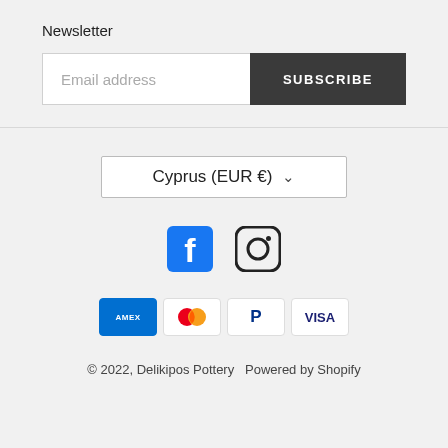Newsletter
Email address | SUBSCRIBE
Cyprus (EUR €)
[Figure (logo): Facebook and Instagram social media icons]
[Figure (logo): Payment method icons: American Express, Mastercard, PayPal, Visa]
© 2022, Delikipos Pottery  Powered by Shopify